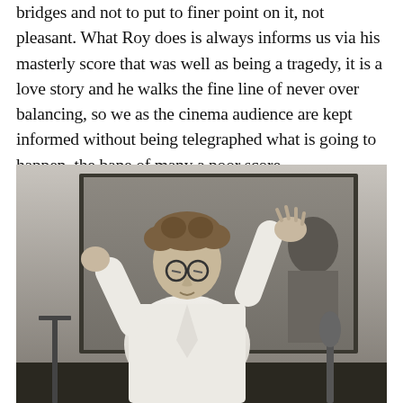bridges and not to put to finer point on it, not pleasant. What Roy does is always informs us via his masterly score that was well as being a tragedy, it is a love story and he walks the fine line of never over balancing, so we as the cinema audience are kept informed without being telegraphed what is going to happen, the bane of many a poor score.
[Figure (photo): Black and white photograph of a man conducting an orchestra, arms raised with both hands in the air, wearing a white shirt and glasses, seen from in front with a large window or glass panel behind him.]